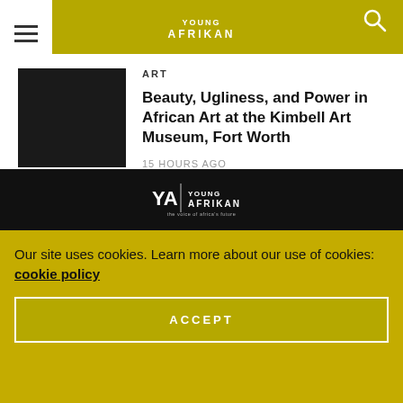YOUNG AFRIKAN
ART
Beauty, Ugliness, and Power in African Art at the Kimbell Art Museum, Fort Worth
15 HOURS AGO
[Figure (photo): Dark/black thumbnail image for article]
[Figure (logo): Young Afrikan logo in footer - YA symbol with text 'YOUNG AFRIKAN' and tagline 'the voice of africa's future']
Our site uses cookies. Learn more about our use of cookies: cookie policy
ACCEPT